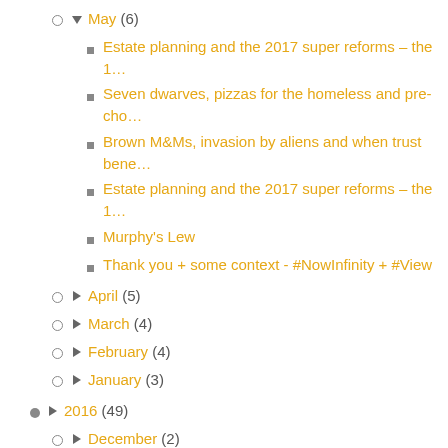▼ May (6)
Estate planning and the 2017 super reforms – the 1…
Seven dwarves, pizzas for the homeless and pre-cho…
Brown M&Ms, invasion by aliens and when trust bene…
Estate planning and the 2017 super reforms – the 1…
Murphy's Lew
Thank you + some context - #NowInfinity + #View
► April (5)
► March (4)
► February (4)
► January (3)
► 2016 (49)
► December (2)
► November (5)
► October (5)
► September (4)
► August (5)
► July (4)
► June (4)